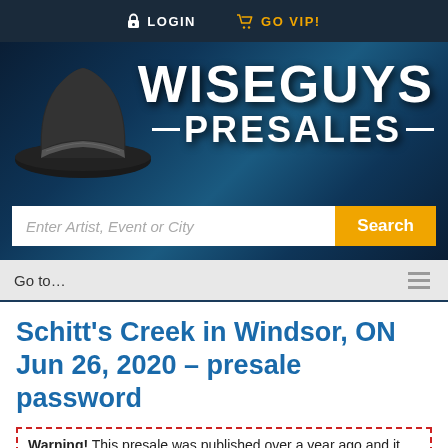LOGIN   GO VIP!
[Figure (logo): Wiseguys Presales logo with fedora hat and bold white text WISEGUYS PRESALES on dark blue background, plus search bar with 'Enter Artist, Event or City' input and orange Search button]
Go to...
Schitt’s Creek in Windsor, ON Jun 26, 2020 – presale password
Warning! This presale was published over a year ago and it